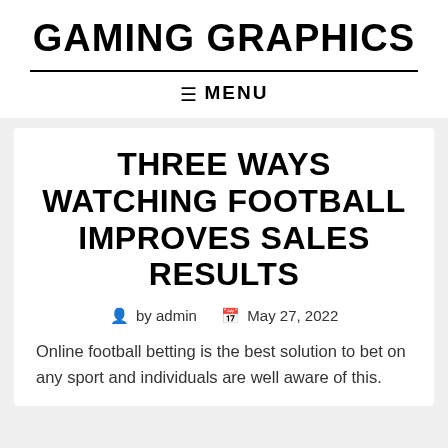GAMING GRAPHICS
MENU
THREE WAYS WATCHING FOOTBALL IMPROVES SALES RESULTS
by admin   May 27, 2022
Online football betting is the best solution to bet on any sport and individuals are well aware of this.